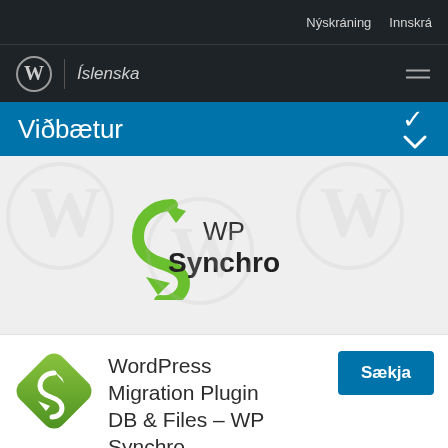Nýskráning  Innskrá
Íslenska
Viðbætur
[Figure (logo): WP Synchro logo: green circular arrow S icon with 'WP Synchro' text, on a light grey background with faint WordPress watermark logos]
[Figure (logo): WP Synchro diamond-shaped app icon in green with white S arrow]
WordPress Migration Plugin DB & Files – WP Synchro